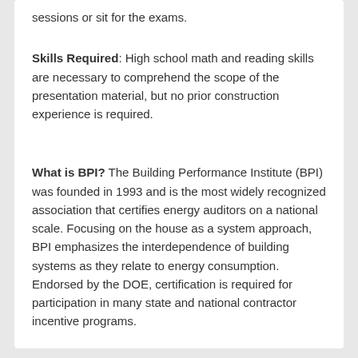sessions or sit for the exams.
Skills Required: High school math and reading skills are necessary to comprehend the scope of the presentation material, but no prior construction experience is required.
What is BPI? The Building Performance Institute (BPI) was founded in 1993 and is the most widely recognized association that certifies energy auditors on a national scale. Focusing on the house as a system approach, BPI emphasizes the interdependence of building systems as they relate to energy consumption. Endorsed by the DOE, certification is required for participation in many state and national contractor incentive programs.
LOCATION, DATE & TIME